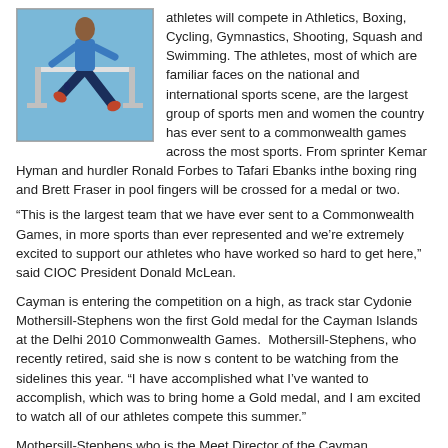[Figure (photo): Photo of an athlete jumping over a hurdle at a track event, wearing blue uniform, with hurdle bars visible, against a light blue background]
athletes will compete in Athletics, Boxing, Cycling, Gymnastics, Shooting, Squash and Swimming. The athletes, most of which are familiar faces on the national and international sports scene, are the largest group of sports men and women the country has ever sent to a commonwealth games across the most sports. From sprinter Kemar Hyman and hurdler Ronald Forbes to Tafari Ebanks inthe boxing ring and Brett Fraser in pool fingers will be crossed for a medal or two.
“This is the largest team that we have ever sent to a Commonwealth Games, in more sports than ever represented and we’re extremely excited to support our athletes who have worked so hard to get here,” said CIOC President Donald McLean.
Cayman is entering the competition on a high, as track star Cydonie Mothersill-Stephens won the first Gold medal for the Cayman Islands at the Delhi 2010 Commonwealth Games.  Mothersill-Stephens, who recently retired, said she is now s content to be watching from the sidelines this year. “I have accomplished what I’ve wanted to accomplish, which was to bring home a Gold medal, and I am excited to watch all of our athletes compete this summer.”
Mothersill-Stephens who is the Meet Director of the Cayman Invitational but is now heavily involved in the administration for the Cayman Islands Amateur Athletics Association as the First Vice President said she hopes to